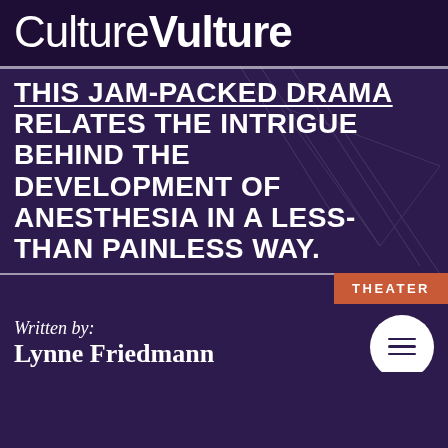CultureVulture
THIS JAM-PACKED DRAMA RELATES THE INTRIGUE BEHIND THE DEVELOPMENT OF ANESTHESIA IN A LESS-THAN PAINLESS WAY.
THEATER
Written by: Lynne Friedmann
SHARE THIS: